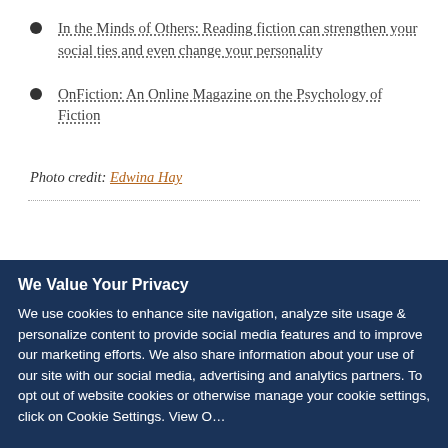In the Minds of Others: Reading fiction can strengthen your social ties and even change your personality
OnFiction: An Online Magazine on the Psychology of Fiction
Photo credit: Edwina Hay
We Value Your Privacy
We use cookies to enhance site navigation, analyze site usage & personalize content to provide social media features and to improve our marketing efforts. We also share information about your use of our site with our social media, advertising and analytics partners. To opt out of website cookies or otherwise manage your cookie settings, click on Cookie Settings. View O...